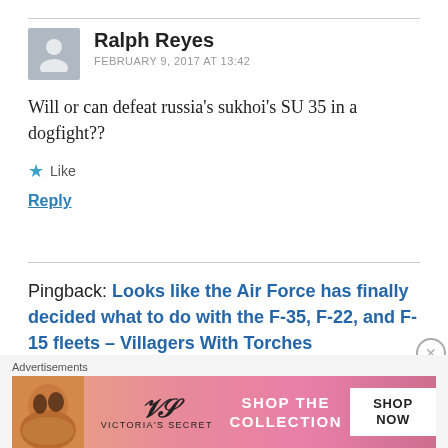Ralph Reyes
FEBRUARY 9, 2017 AT 13:42
Will or can defeat russia’s sukhoi’s SU 35 in a dogfight??
★ Like
Reply
Pingback: Looks like the Air Force has finally decided what to do with the F-35, F-22, and F-15 fleets – Villagers With Torches
[Figure (other): Victoria's Secret advertisement banner: woman's face on left, VS logo in center, 'SHOP THE COLLECTION' text, 'SHOP NOW' button on right, pink gradient background]